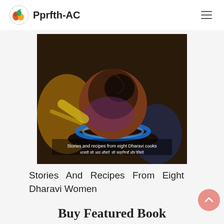Pprfth-AC
[Figure (photo): Book cover showing a coconut or round food item being roasted on a gas flame with text 'Stories and recipes from eight Dharavi cooks' and Hindi text below]
Stories And Recipes From Eight Dharavi Women
Buy Featured Book